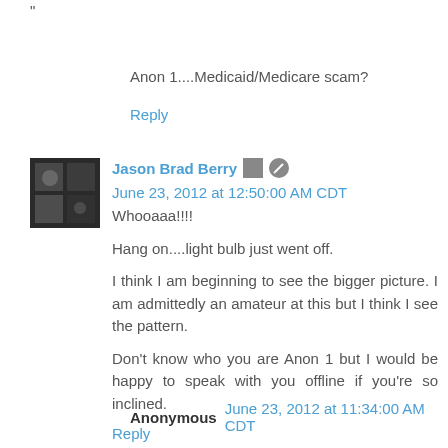"
Anon 1....Medicaid/Medicare scam?
Reply
Jason Brad Berry   June 23, 2012 at 12:50:00 AM CDT
Whooaaa!!!!
Hang on....light bulb just went off.
I think I am beginning to see the bigger picture. I am admittedly an amateur at this but I think I see the pattern.
Don't know who you are Anon 1 but I would be happy to speak with you offline if you're so inclined.
Reply
Anonymous   June 23, 2012 at 11:34:00 AM CDT